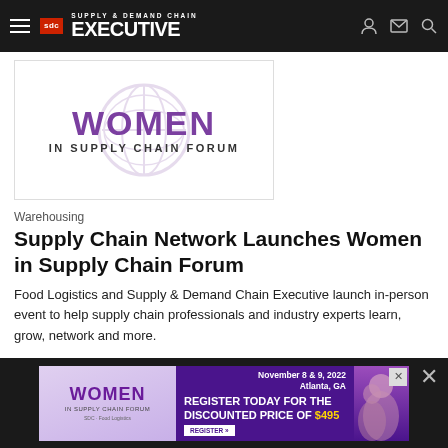Supply & Demand Chain Executive
[Figure (illustration): Women in Supply Chain Forum logo — purple text WOMEN in large letters above 'IN SUPPLY CHAIN FORUM' with a globe watermark graphic]
Warehousing
Supply Chain Network Launches Women in Supply Chain Forum
Food Logistics and Supply & Demand Chain Executive launch in-person event to help supply chain professionals and industry experts learn, grow, network and more.
Brielle Jaekel
Marina Mayer
August 15, 2022
[Figure (infographic): Advertisement banner for Women in Supply Chain Forum — November 8 & 9, 2022, Atlanta, GA. Register today for the discounted price of $495.]